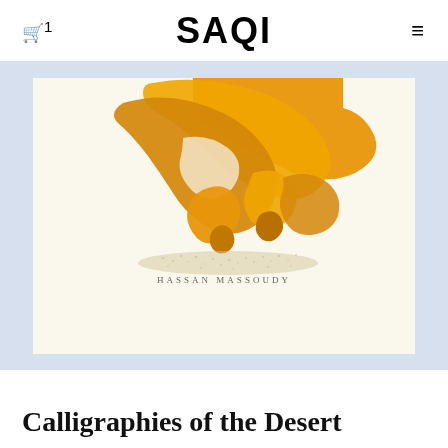SAQI
[Figure (illustration): Book cover of 'Calligraphies of the Desert' by Hassan Massoudy. The cover features bold Arabic calligraphy in golden/orange tones on a cream/ivory background. Large sweeping brushstrokes form abstract calligraphic shapes in amber and orange. The author name 'HASSAN MASSOUDY' is printed in small spaced capital letters at the bottom of the cover.]
Calligraphies of the Desert